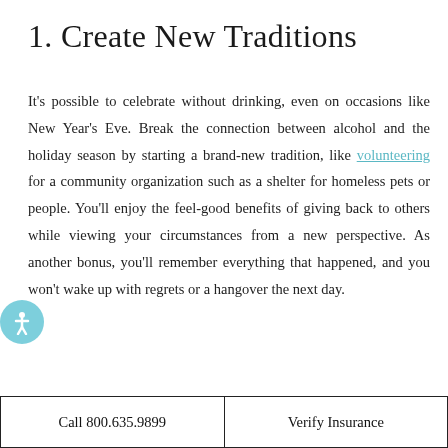1. Create New Traditions
It's possible to celebrate without drinking, even on occasions like New Year's Eve. Break the connection between alcohol and the holiday season by starting a brand-new tradition, like volunteering for a community organization such as a shelter for homeless pets or people. You'll enjoy the feel-good benefits of giving back to others while viewing your circumstances from a new perspective. As another bonus, you'll remember everything that happened, and you won't wake up with regrets or a hangover the next day.
| Call 800.635.9899 | Verify Insurance |
| --- | --- |